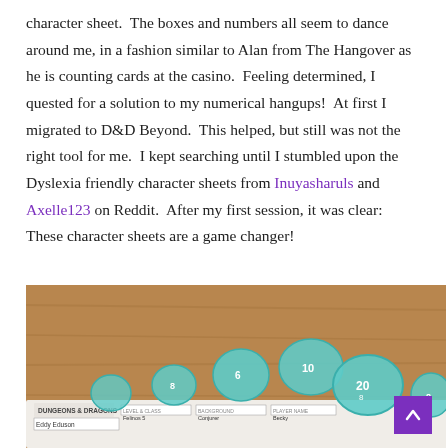character sheet.  The boxes and numbers all seem to dance around me, in a fashion similar to Alan from The Hangover as he is counting cards at the casino.  Feeling determined, I quested for a solution to my numerical hangups!  At first I migrated to D&D Beyond.  This helped, but still was not the right tool for me.  I kept searching until I stumbled upon the Dyslexia friendly character sheets from Inuyasharuls and Axelle123 on Reddit.  After my first session, it was clear:  These character sheets are a game changer!
[Figure (photo): Photo of teal/aqua polyhedral dice (D&D dice set) resting on a Dungeons & Dragons character sheet on a wooden table. A purple scroll-to-top button is visible in the bottom right corner of the photo.]